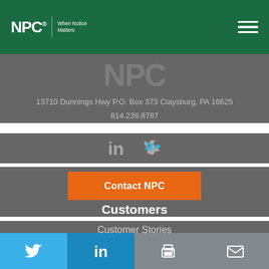NPC | When Notice Matters
[Figure (logo): NPC watermark logo in gray on dark background]
13710 Dunnings Hwy P.O. Box 373 Claysburg, PA 16625
814.239.8787
[Figure (illustration): LinkedIn and Twitter social media icons in gray]
Contact NPC
Customers
Customer Stories
[Figure (illustration): Bottom social share bar with Twitter, LinkedIn, Print, and Email icons]